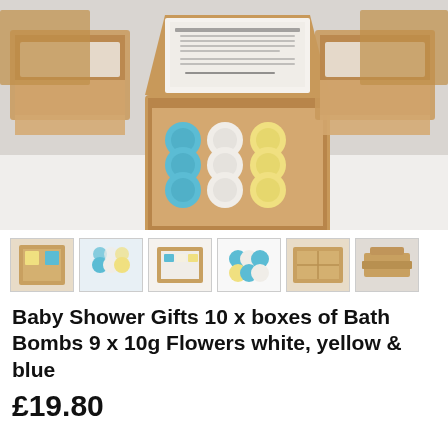[Figure (photo): An open cardboard box containing 9 flower-shaped bath bombs in blue, white, and yellow arranged in a 3x3 grid. Multiple similar closed boxes visible in the background on a white surface.]
[Figure (photo): Row of 6 thumbnail images showing different views of the bath bomb gift boxes - various angles showing the product packaging and contents.]
Baby Shower Gifts 10 x boxes of Bath Bombs 9 x 10g Flowers white, yellow & blue
£19.80